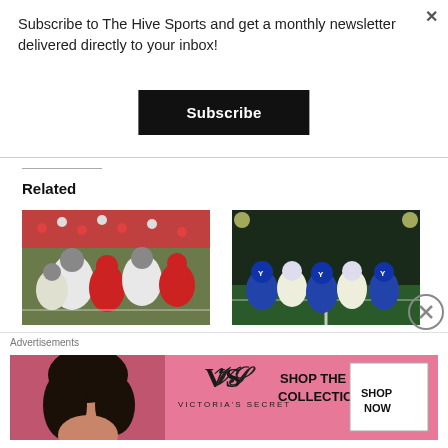Subscribe to The Hive Sports and get a monthly newsletter delivered directly to your inbox!
Subscribe
Related
[Figure (photo): Football players in red and white uniforms during a game, offensive line action]
[Figure (photo): Football players in blue and white uniforms at the line of scrimmage during a night game]
Three ways the state of Utah could get a College
BYU Football: Three Reasons why the Offensive Line is the
Advertisements
[Figure (screenshot): Victoria's Secret advertisement banner: woman with dark curly hair, Victoria's Secret logo, text 'SHOP THE COLLECTION', button 'SHOP NOW']